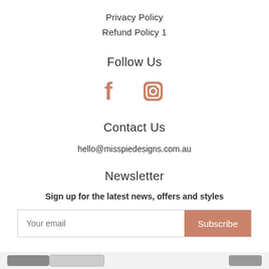Privacy Policy
Refund Policy 1
Follow Us
[Figure (illustration): Facebook and Instagram icons in salmon/terracotta color]
Contact Us
hello@misspiedesigns.com.au
Newsletter
Sign up for the latest news, offers and styles
Your email [input] Subscribe [button]